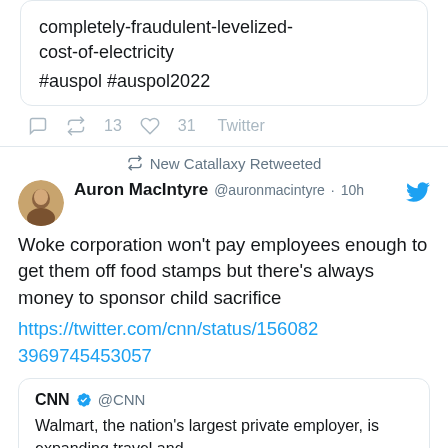completely-fraudulent-levelized-cost-of-electricity #auspol #auspol2022
13 retweets, 31 likes, Twitter
New Catallaxy Retweeted
Auron MacIntyre @auronmacintyre · 10h
Woke corporation won't pay employees enough to get them off food stamps but there's always money to sponsor child sacrifice https://twitter.com/cnn/status/1560823969745453057
CNN @CNN — Walmart, the nation's largest private employer, is expanding travel and